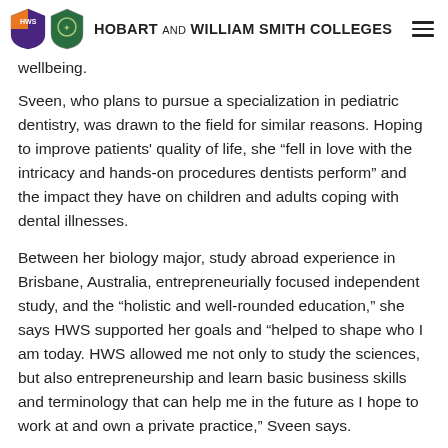HOBART AND WILLIAM SMITH COLLEGES
wellbeing.
Sveen, who plans to pursue a specialization in pediatric dentistry, was drawn to the field for similar reasons. Hoping to improve patients' quality of life, she “fell in love with the intricacy and hands-on procedures dentists perform” and the impact they have on children and adults coping with dental illnesses.
Between her biology major, study abroad experience in Brisbane, Australia, entrepreneurially focused independent study, and the “holistic and well-rounded education,” she says HWS supported her goals and “helped to shape who I am today. HWS allowed me not only to study the sciences, but also entrepreneurship and learn basic business skills and terminology that can help me in the future as I hope to work at and own a private practice,” Sveen says.
For Voto, the internship experiences
[Figure (photo): Young man smiling outdoors on college campus, brick buildings and green lawn in background]